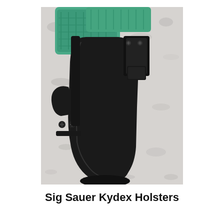[Figure (photo): A black Kydex IWB holster with a belt clip, shown with a teal/green Sig Sauer pistol resting on a white and grey granite countertop. The holster features adjustment screws and a retention mechanism.]
Sig Sauer Kydex Holsters